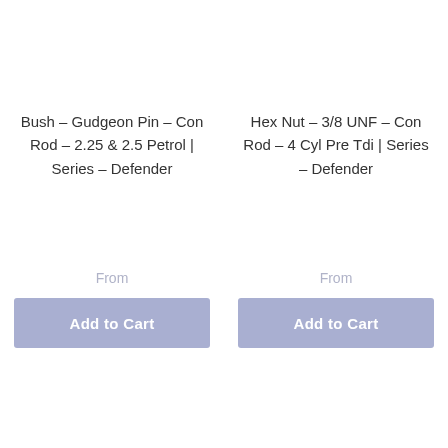Bush - Gudgeon Pin - Con Rod - 2.25 & 2.5 Petrol | Series - Defender
From
Hex Nut - 3/8 UNF - Con Rod - 4 Cyl Pre Tdi | Series - Defender
From
Add to Cart
Add to Cart